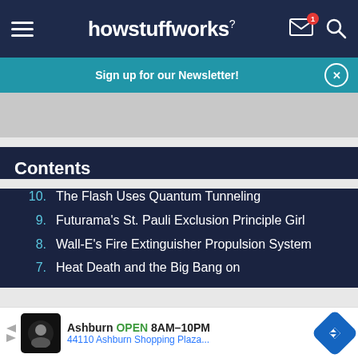howstuffworks
Sign up for our Newsletter!
Contents
10. The Flash Uses Quantum Tunneling
9. Futurama's St. Pauli Exclusion Principle Girl
8. Wall-E's Fire Extinguisher Propulsion System
7. Heat Death and the Big Bang on
Ashburn OPEN 8AM–10PM 44110 Ashburn Shopping Plaza...